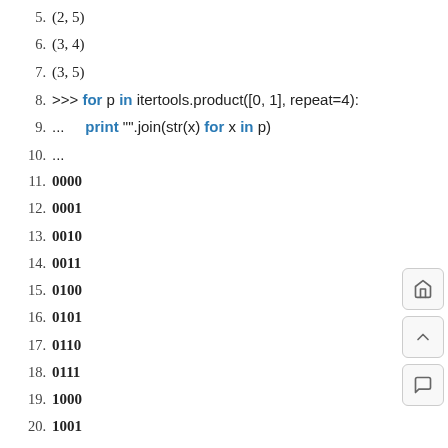5. (2, 5)
6. (3, 4)
7. (3, 5)
8. >>> for p in itertools.product([0, 1], repeat=4):
9. ...     print "".join(str(x) for x in p)
10. ...
11. 0000
12. 0001
13. 0010
14. 0011
15. 0100
16. 0101
17. 0110
18. 0111
19. 1000
20. 1001
21. 1010